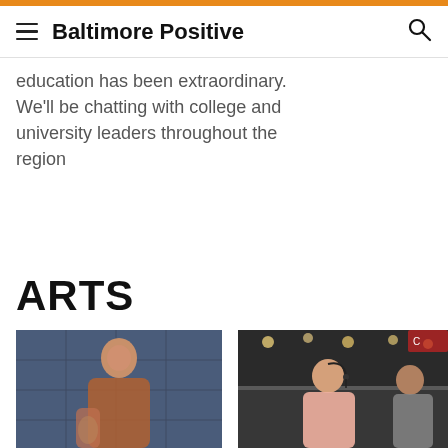Baltimore Positive
education has been extraordinary. We'll be chatting with college and university leaders throughout the region
ARTS
[Figure (photo): Woman in leopard print dress with tattoos, smiling, standing in front of blue tiled wall]
[Figure (photo): Man in pink shirt wearing headset/microphone, speaking at an event in a market or restaurant setting]